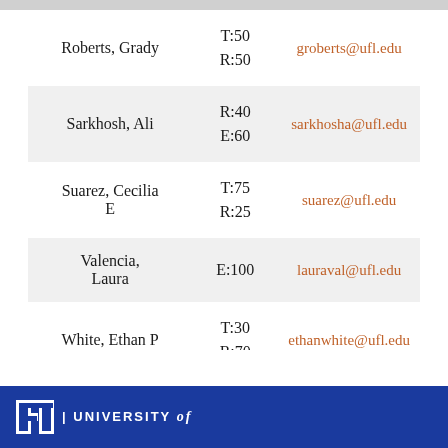| Name | Scores | Email |
| --- | --- | --- |
| Roberts, Grady | T:50
R:50 | groberts@ufl.edu |
| Sarkhosh, Ali | R:40
E:60 | sarkhosha@ufl.edu |
| Suarez, Cecilia E | T:75
R:25 | suarez@ufl.edu |
| Valencia, Laura | E:100 | lauraval@ufl.edu |
| White, Ethan P | T:30
R:70 | ethanwhite@ufl.edu |
UF | UNIVERSITY of